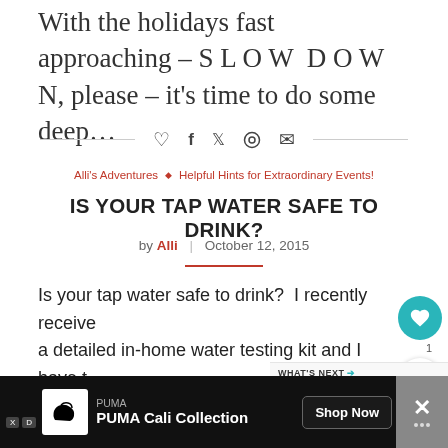With the holidays fast approaching – S L O W  D O W N, please – it's time to do some deep…
♡  f  🐦  ⊕  ✉
Alli's Adventures  ◇  Helpful Hints for Extraordinary Events!
IS YOUR TAP WATER SAFE TO DRINK?
by Alli  |  October 12, 2015
Is your tap water safe to drink?  I recently received a detailed in-home water testing kit and I have to tell you that…
WHAT'S NEXT →  What Makes an Event…
♡  f  🐦  ⊕  ✉
[Figure (screenshot): PUMA Cali Collection advertisement banner with Shop Now button]